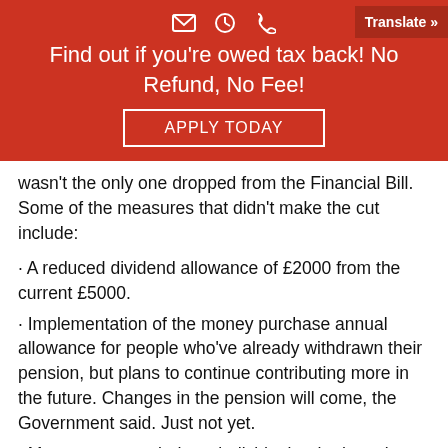Find out if you're owed tax back! No Refund, No Fee! APPLY TODAY
wasn't the only one dropped from the Financial Bill. Some of the measures that didn't make the cut include:
· A reduced dividend allowance of £2000 from the current £5000.
· Implementation of the money purchase annual allowance for people who've already withdrawn their pension, but plans to continue contributing more in the future. Changes in the pension will come, the Government said. Just not yet.
· Measures to track down individuals who have been living in the UK for a long time but are domiciled